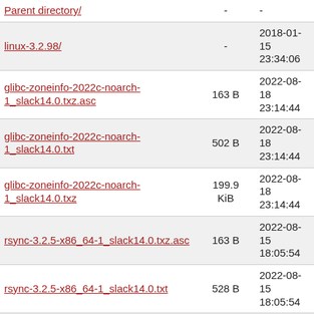| Name | Size | Date |
| --- | --- | --- |
| Parent directory/ | - | - |
| linux-3.2.98/ | - | 2018-01-15 23:34:06 |
| glibc-zoneinfo-2022c-noarch-1_slack14.0.txz.asc | 163 B | 2022-08-18 23:14:44 |
| glibc-zoneinfo-2022c-noarch-1_slack14.0.txt | 502 B | 2022-08-18 23:14:44 |
| glibc-zoneinfo-2022c-noarch-1_slack14.0.txz | 199.9 KiB | 2022-08-18 23:14:44 |
| rsync-3.2.5-x86_64-1_slack14.0.txz.asc | 163 B | 2022-08-15 18:05:54 |
| rsync-3.2.5-x86_64-1_slack14.0.txt | 528 B | 2022-08-15 18:05:54 |
| rsync-3.2.5-x86_64-1_slack14.0.txz | 362.0 KiB | 2022-08-15 18:05:54 |
| zlib-1.2.12-x86_64-2_slack14.0.txt | 359 B | 2022-08-09 17:47:36 |
| zlib-1.2.12-x86_64-2_slack14.0.txz.asc | 163 B | 2022-08-09 17:47:36 |
| zlib-1.2.12-x86_64-2_slack14.0.txz | 102.7 KiB | 2022-08-09 17:47:36 |
| wavpack-5.5.0-x86_64- | 178.8 | 2022-07-10 |